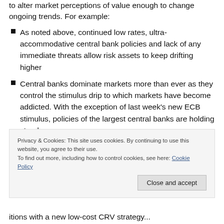to alter market perceptions of value enough to change ongoing trends. For example:
As noted above, continued low rates, ultra-accommodative central bank policies and lack of any immediate threats allow risk assets to keep drifting higher
Central banks dominate markets more than ever as they control the stimulus drip to which markets have become addicted. With the exception of last week's new ECB stimulus, policies of the largest central banks are holding steady
Privacy & Cookies: This site uses cookies. By continuing to use this website, you agree to their use. To find out more, including how to control cookies, see here: Cookie Policy
itions with a new low-cost CRV strategy...